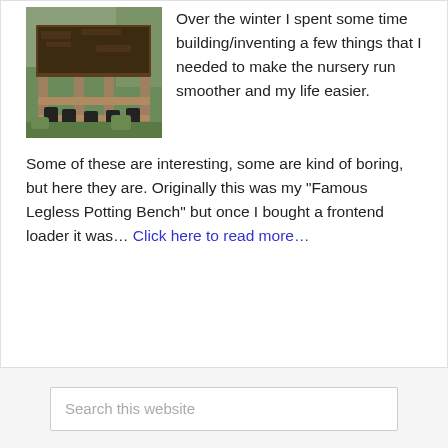[Figure (photo): Photo of a wooden potting bench with legs, filled with dark soil/compost, surrounded by green plants and black plant pots]
Over the winter I spent some time building/inventing a few things that I needed to make the nursery run smoother and my life easier. Some of these are interesting, some are kind of boring, but here they are. Originally this was my "Famous Legless Potting Bench" but once I bought a frontend loader it was… Click here to read more…
Search this website